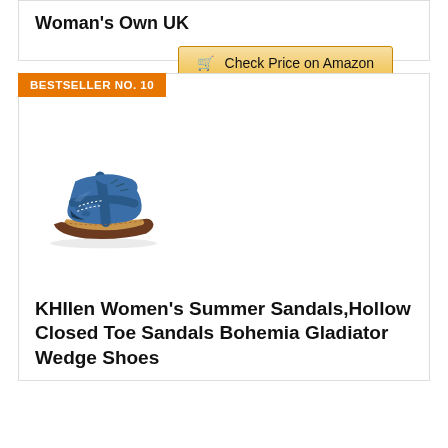Woman's Own UK
Check Price on Amazon
BESTSELLER NO. 10
[Figure (photo): Blue women's summer sandal with hollow closed toe, Bohemia gladiator wedge style, shown from side angle on white background]
KHIIen Women's Summer Sandals,Hollow Closed Toe Sandals Bohemia Gladiator Wedge Shoes